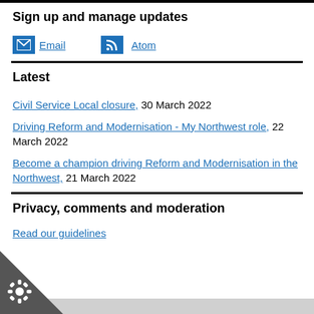Sign up and manage updates
Email
Atom
Latest
Civil Service Local closure, 30 March 2022
Driving Reform and Modernisation - My Northwest role, 22 March 2022
Become a champion driving Reform and Modernisation in the Northwest, 21 March 2022
Privacy, comments and moderation
Read our guidelines